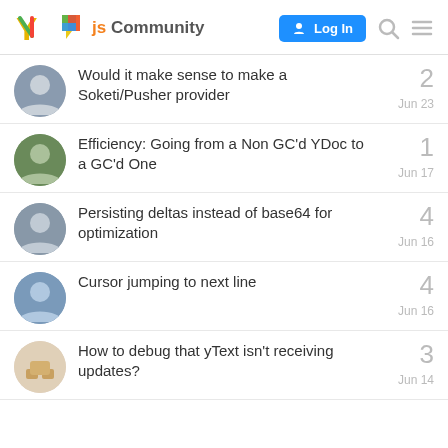Yjs Community — Log In
Would it make sense to make a Soketi/Pusher provider — 2 replies — Jun 23
Efficiency: Going from a Non GC'd YDoc to a GC'd One — 1 reply — Jun 17
Persisting deltas instead of base64 for optimization — 4 replies — Jun 16
Cursor jumping to next line — 4 replies — Jun 16
How to debug that yText isn't receiving updates? — 3 replies — Jun 14